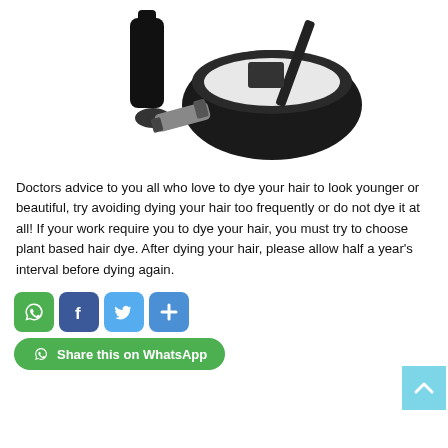[Figure (photo): Hair dye tools on white background: black bowl with white dye mixture and spatula/brush, black bottle, cap, and squeezed dye tube]
Doctors advice to you all who love to dye your hair to look younger or beautiful, try avoiding dying your hair too frequently or do not dye it at all! If your work require you to dye your hair, you must try to choose plant based hair dye. After dying your hair, please allow half a year's interval before dying again.